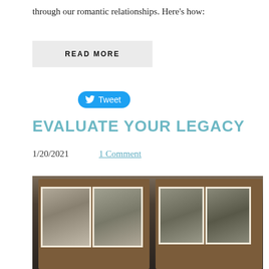through our romantic relationships. Here's how:
READ MORE
Tweet
EVALUATE YOUR LEGACY
1/20/2021    1 Comment
[Figure (photo): Open vintage photo album showing four black and white photographs of people, held by hands against a dark background.]